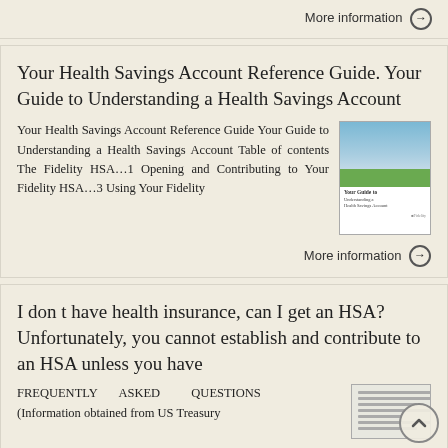More information →
Your Health Savings Account Reference Guide. Your Guide to Understanding a Health Savings Account
Your Health Savings Account Reference Guide Your Guide to Understanding a Health Savings Account Table of contents The Fidelity HSA…1 Opening and Contributing to Your Fidelity HSA…3 Using Your Fidelity
[Figure (photo): Thumbnail image of a Health Savings Account reference guide booklet cover, showing a family at the beach and green stripe with Fidelity branding]
More information →
I don t have health insurance, can I get an HSA? Unfortunately, you cannot establish and contribute to an HSA unless you have
FREQUENTLY ASKED QUESTIONS (Information obtained from US Treasury
[Figure (photo): Thumbnail image showing lines of text from a frequently asked questions document]